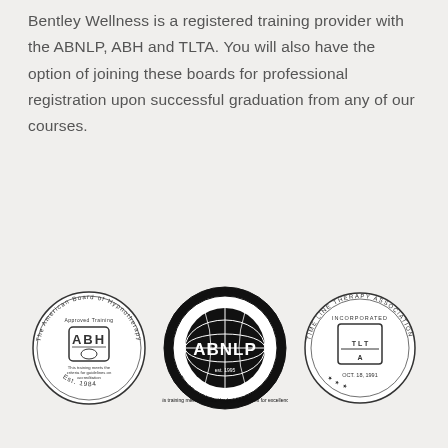Bentley Wellness is a registered training provider with the ABNLP, ABH and TLTA. You will also have the option of joining these boards for professional registration upon successful graduation from any of our courses.
[Figure (illustration): Three circular certification logos side by side: ABH (American Board of Hypnotherapy, Est. 1984), ABNLP (American Board of Neuro-Linguistic Programming, The NLP Global Standard), and TLTA (Time Line Therapy Association, Incorporated Oct. 18, 1991)]